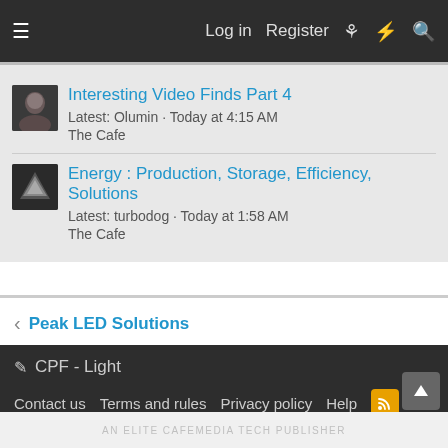☰  Log in  Register  ♀  ⚡  🔍
Interesting Video Finds Part 4 | Latest: Olumin · Today at 4:15 AM | The Cafe
Energy : Production, Storage, Efficiency, Solutions | Latest: turbodog · Today at 1:58 AM | The Cafe
< Peak LED Solutions
✏ CPF - Light | Contact us  Terms and rules  Privacy policy  Help  [RSS] | Community platform by XenForo® © 2010-2022 XenForo Ltd. | Add-Ons by xenMade.com
AN ELITE CAFEMEDIA TECH PUBLISHER